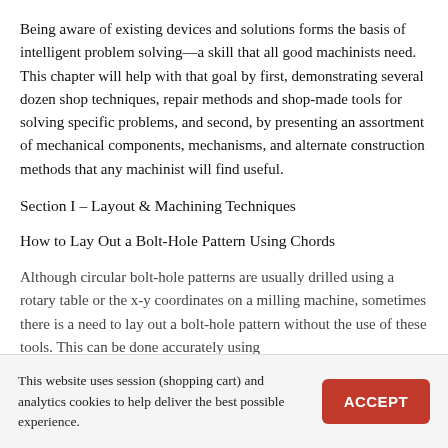Being aware of existing devices and solutions forms the basis of intelligent problem solving—a skill that all good machinists need. This chapter will help with that goal by first, demonstrating several dozen shop techniques, repair methods and shop-made tools for solving specific problems, and second, by presenting an assortment of mechanical components, mechanisms, and alternate construction methods that any machinist will find useful.
Section I – Layout & Machining Techniques
How to Lay Out a Bolt-Hole Pattern Using Chords
Although circular bolt-hole patterns are usually drilled using a rotary table or the x-y coordinates on a milling machine, sometimes there is a need to lay out a bolt-hole pattern without the use of these tools. This can be done accurately using
This website uses session (shopping cart) and analytics cookies to help deliver the best possible experience.